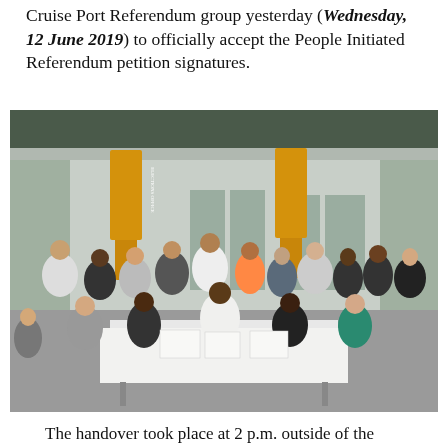Cruise Port Referendum group yesterday (Wednesday, 12 June 2019) to officially accept the People Initiated Referendum petition signatures.
[Figure (photo): Group photo of approximately 20 people, some seated at a white-tablecloth table and others standing behind, in front of a building with two Elections Office banners visible. The scene is outdoors on a tiled patio.]
The handover took place at 2 p.m. outside of the Election Office. Elections Office Supervisor, Wesley Howell, along with Deputy Supervisors Suzanne Bothwell and Sheena Glasgow, were given the documents by